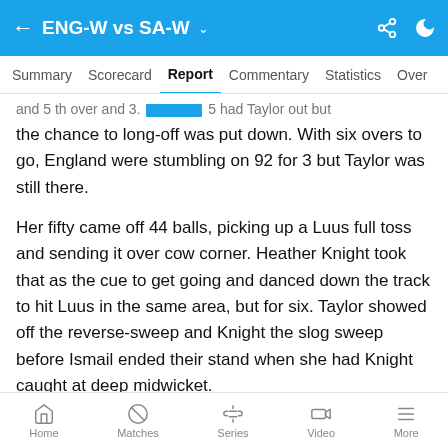ENG-W vs SA-W
Summary  Scorecard  Report  Commentary  Statistics  Over
and 5 th over and 3. [highlighted] 5 had Taylor out but the chance to long-off was put down. With six overs to go, England were stumbling on 92 for 3 but Taylor was still there.
Her fifty came off 44 balls, picking up a Luus full toss and sending it over cow corner. Heather Knight took that as the cue to get going and danced down the track to hit Luus in the same area, but for six. Taylor showed off the reverse-sweep and Knight the slog sweep before Ismail ended their stand when she had Knight caught at deep midwicket.
Home  Matches  Series  Video  More